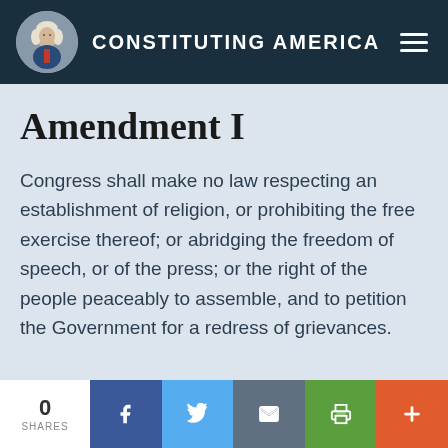CONSTITUTING AMERICA
Amendment I
Congress shall make no law respecting an establishment of religion, or prohibiting the free exercise thereof; or abridging the freedom of speech, or of the press; or the right of the people peaceably to assemble, and to petition the Government for a redress of grievances.
0 SHARES